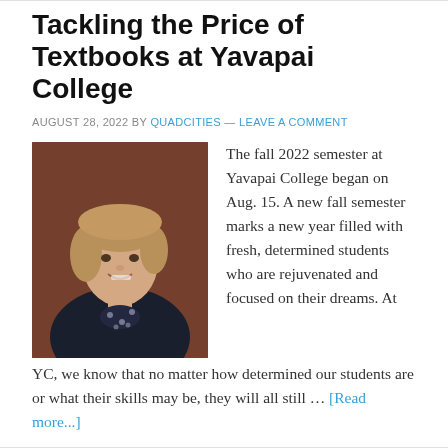Tackling the Price of Textbooks at Yavapai College
AUGUST 28, 2022 BY QUADCITIES — LEAVE A COMMENT
[Figure (photo): Professional headshot of a woman with short blonde hair wearing a dark blazer with white floral pattern, smiling, against a dark brown/maroon background.]
The fall 2022 semester at Yavapai College began on Aug. 15. A new fall semester marks a new year filled with fresh, determined students who are rejuvenated and focused on their dreams. At YC, we know that no matter how determined our students are or what their skills may be, they will all still … [Read more...]